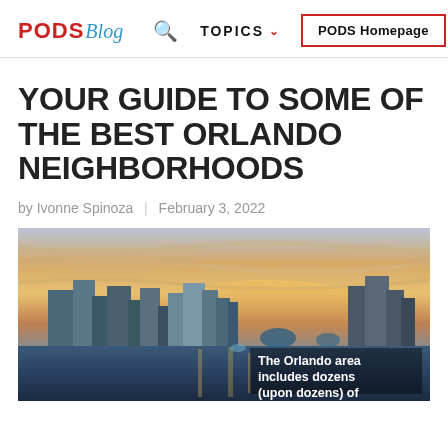PODS Blog | TOPICS | PODS Homepage
YOUR GUIDE TO SOME OF THE BEST ORLANDO NEIGHBORHOODS
by Ivonne Spinoza | February 3, 2022
[Figure (photo): Orlando city skyline at sunset reflected over a lake, with dramatic golden and purple sky. Text overlay reads: 'The Orlando area includes dozens (upon dozens) of']